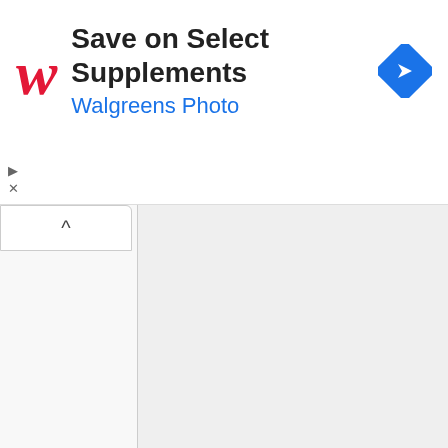[Figure (screenshot): Walgreens advertisement banner: red cursive W logo, bold text 'Save on Select Supplements', blue text 'Walgreens Photo', blue diamond arrow icon on right]
with an aluminium body and plastic cursor into which celluloid cards (printed on
[Figure (screenshot): Web browser UI showing collapsed left panel with up-arrow toggle button, vertical divider line separating left panel from right text column]